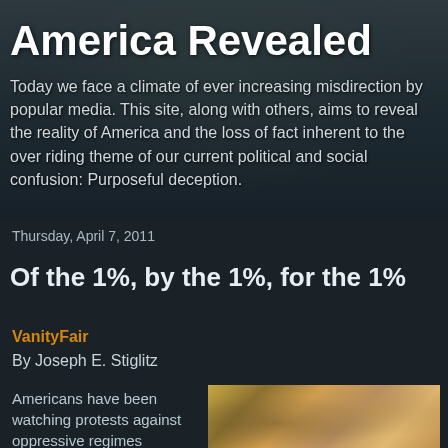America Revealed
Today we face a climate of ever increasing misdirection by popular media. This site, along with others, aims to reveal the reality of America and the loss of fact inherent to the over riding theme of our current political and social confusion: Purposeful deception.
Thursday, April 7, 2011
Of the 1%, by the 1%, for the 1%
VanityFair
By Joseph E. Stiglitz
Americans have been watching protests against oppressive regimes
[Figure (illustration): Painted illustration of a person bending over, appearing to read something, with warm golden-brown tones suggesting a painted artwork]